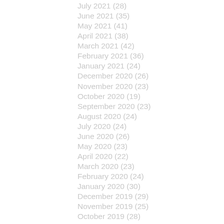July 2021 (28)
June 2021 (35)
May 2021 (41)
April 2021 (38)
March 2021 (42)
February 2021 (36)
January 2021 (24)
December 2020 (26)
November 2020 (23)
October 2020 (19)
September 2020 (23)
August 2020 (24)
July 2020 (24)
June 2020 (26)
May 2020 (23)
April 2020 (22)
March 2020 (23)
February 2020 (24)
January 2020 (30)
December 2019 (29)
November 2019 (25)
October 2019 (28)